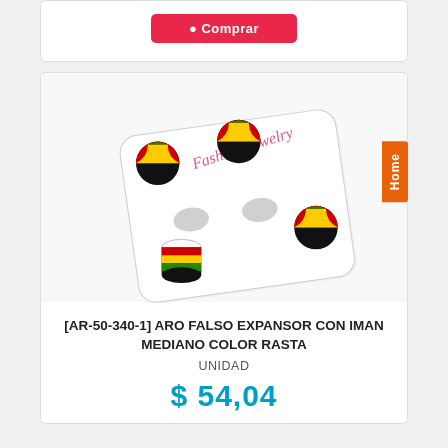[Figure (other): Buy button (Comprar) shown at top of page in a white card]
[Figure (photo): Photo of rasta-colored fake magnetic earrings on a white jewelry card. Shows four small round/cylindrical pieces with black, red, yellow, green stripes. Text 'Fashion Jewelry' in pink cursive on the card.]
[AR-50-340-1] ARO FALSO EXPANSOR CON IMAN MEDIANO COLOR RASTA
UNIDAD
$ 54,04